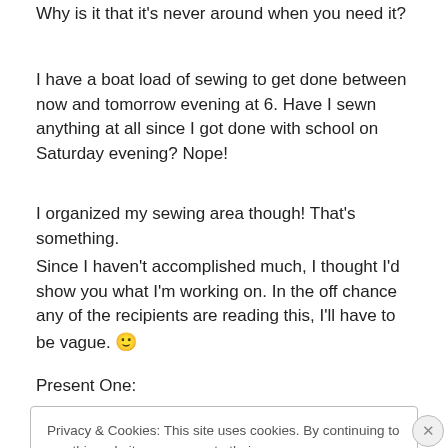Why is it that it's never around when you need it?
I have a boat load of sewing to get done between now and tomorrow evening at 6. Have I sewn anything at all since I got done with school on Saturday evening? Nope!
I organized my sewing area though! That's something.
Since I haven't accomplished much, I thought I'd show you what I'm working on. In the off chance any of the recipients are reading this, I'll have to be vague. 🙂
Present One:
Privacy & Cookies: This site uses cookies. By continuing to use this website, you agree to their use.
To find out more, including how to control cookies, see here: Cookie Policy
Close and accept